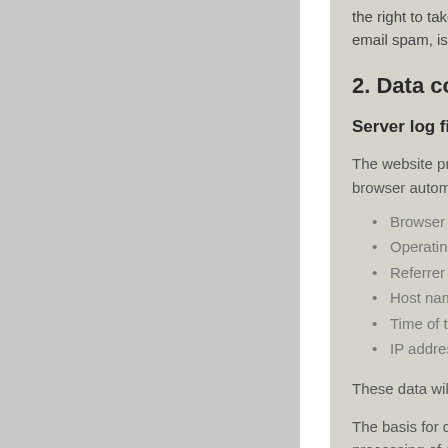the right to take specific legal action... email spam, is received.
2. Data collection on o
Server log files
The website provider automatically... browser automatically transmits to
Browser type and browser vers
Operating system used
Referrer URL
Host name of the accessing co
Time of the server request
IP address
These data will not be combined w
The basis for data processing is Ar processing of data to fulfill a contra